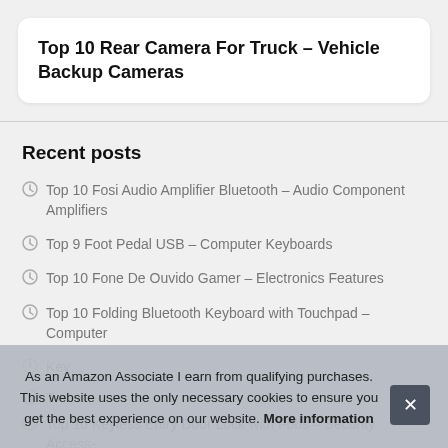Top 10 Rear Camera For Truck – Vehicle Backup Cameras
Recent posts
Top 10 Fosi Audio Amplifier Bluetooth – Audio Component Amplifiers
Top 9 Foot Pedal USB – Computer Keyboards
Top 10 Fone De Ouvido Gamer – Electronics Features
Top 10 Folding Bluetooth Keyboard with Touchpad – Computer Keyboards
Top … Phones
Top 10 Keyless Entry Door Lock with Fobs – Security Access-
As an Amazon Associate I earn from qualifying purchases. This website uses the only necessary cookies to ensure you get the best experience on our website. More information